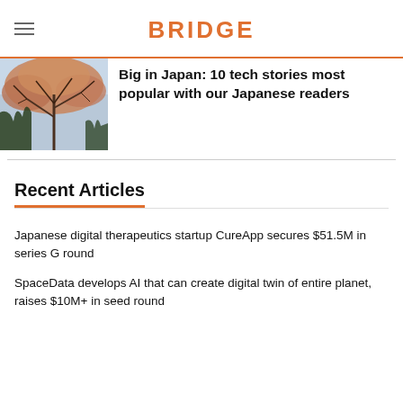BRIDGE
Big in Japan: 10 tech stories most popular with our Japanese readers
[Figure (photo): Photo of a tree with bare branches against a sky, possibly a weeping cherry tree, with pink/rust-colored foliage at the top.]
Recent Articles
Japanese digital therapeutics startup CureApp secures $51.5M in series G round
SpaceData develops AI that can create digital twin of entire planet, raises $10M+ in seed round